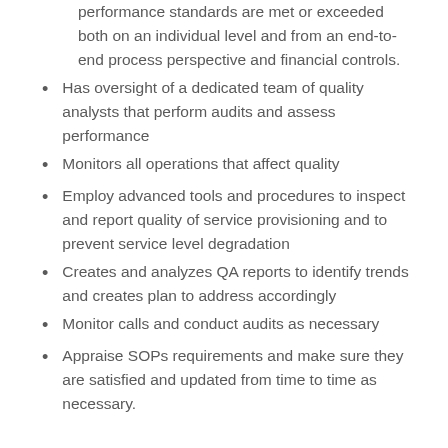performance standards are met or exceeded both on an individual level and from an end-to-end process perspective and financial controls.
Has oversight of a dedicated team of quality analysts that perform audits and assess performance
Monitors all operations that affect quality
Employ advanced tools and procedures to inspect and report quality of service provisioning and to prevent service level degradation
Creates and analyzes QA reports to identify trends and creates plan to address accordingly
Monitor calls and conduct audits as necessary
Appraise SOPs requirements and make sure they are satisfied and updated from time to time as necessary.